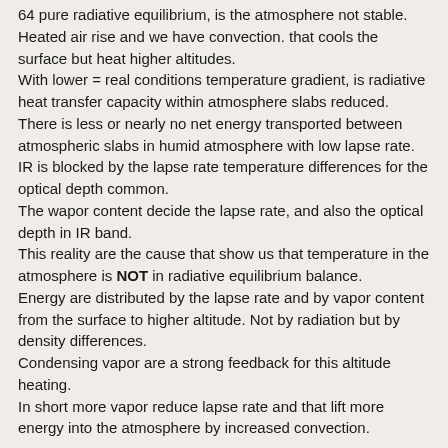64 pure radiative equilibrium, is the atmosphere not stable. Heated air rise and we have convection. that cools the surface but heat higher altitudes. With lower = real conditions temperature gradient, is radiative heat transfer capacity within atmosphere slabs reduced. There is less or nearly no net energy transported between atmospheric slabs in humid atmosphere with low lapse rate. IR is blocked by the lapse rate temperature differences for the optical depth common. The wapor content decide the lapse rate, and also the optical depth in IR band. This reality are the cause that show us that temperature in the atmosphere is NOT in radiative equilibrium balance. Energy are distributed by the lapse rate and by vapor content from the surface to higher altitude. Not by radiation but by density differences. Condensing vapor are a strong feedback for this altitude heating. In short more vapor reduce lapse rate and that lift more energy into the atmosphere by increased convection.